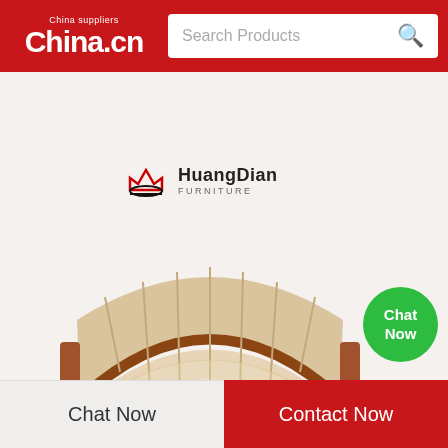China.cn China suppliers — Search Products
[Figure (logo): HuangDian Furniture brand logo with crown icon]
[Figure (photo): Curved semi-circular restaurant booth sofa with beige upholstery and wood base frame, viewed from front]
Chat Now
Chat Now
Contact Now